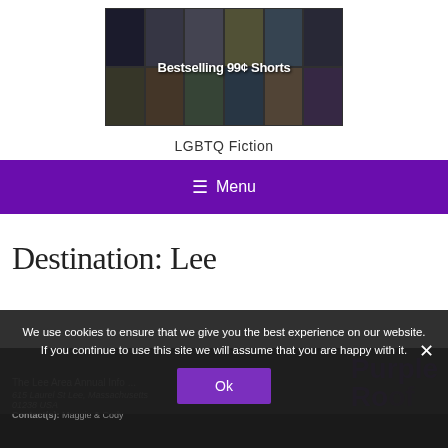[Figure (illustration): Banner image collage of book covers with text overlay reading 'Bestselling 99¢ Shorts']
LGBTQ Fiction
≡ Menu
Destination: Lee
We use cookies to ensure that we give you the best experience on our website. If you continue to use this site we will assume that you are happy with it.
Ok
615 Laurel St Lee, Massachusetts 01238 USA
Contact(s): Maggie & Cody